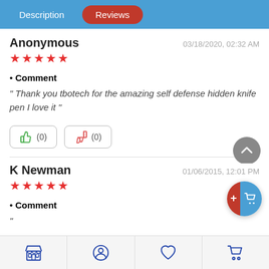Description  Reviews
Anonymous  03/18/2020, 02:32 AM
★★★★★
• Comment
" Thank you tbotech for the amazing self defense hidden knife pen I love it "
K Newman  01/06/2015, 12:01 PM
★★★★★
• Comment
[store icon] [profile icon] [heart icon] [cart icon]